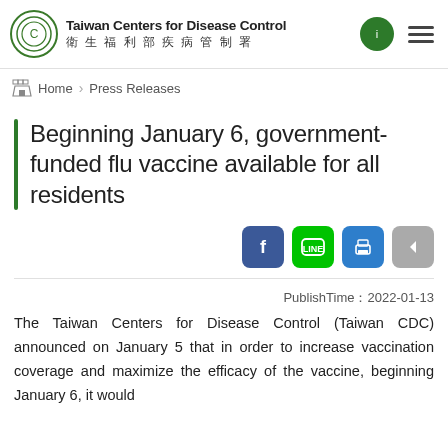Taiwan Centers for Disease Control 衛生福利部疾病管制署
Home > Press Releases
Beginning January 6, government-funded flu vaccine available for all residents
[Figure (infographic): Social share buttons: Facebook (blue), LINE (green), Print (blue), Back (grey)]
PublishTime：2022-01-13
The Taiwan Centers for Disease Control (Taiwan CDC) announced on January 5 that in order to increase vaccination coverage and maximize the efficacy of the vaccine, beginning January 6, it would